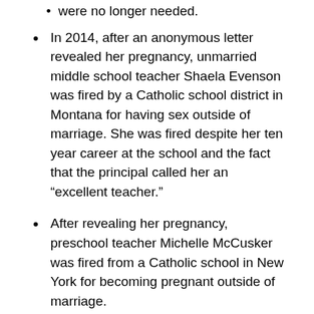were no longer needed.
In 2014, after an anonymous letter revealed her pregnancy, unmarried middle school teacher Shaela Evenson was fired by a Catholic school district in Montana for having sex outside of marriage. She was fired despite her ten year career at the school and the fact that the principal called her an “excellent teacher.”
After revealing her pregnancy, preschool teacher Michelle McCusker was fired from a Catholic school in New York for becoming pregnant outside of marriage.
These women were dedicated to their jobs and fully qualified for their positions. It is unfair that they – or any person – would be fired simply because of their decisions related to their reproductive health, including how to start a family.